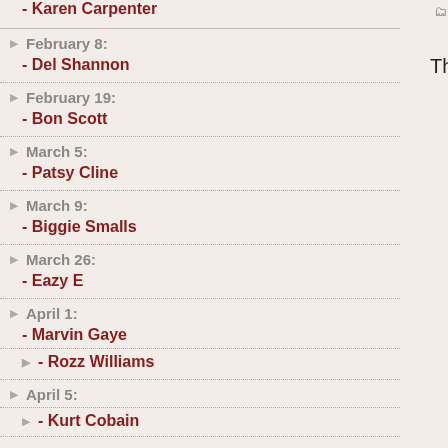- Karen Carpenter
February 8:
- Del Shannon
February 19:
- Bon Scott
March 5:
- Patsy Cline
March 9:
- Biggie Smalls
March 26:
- Eazy E
April 1:
- Marvin Gaye
- Rozz Williams
April 5:
- Kurt Cobain
Filed Under: Martyrology Tagged With: M
This post is password protected. Enter the pa